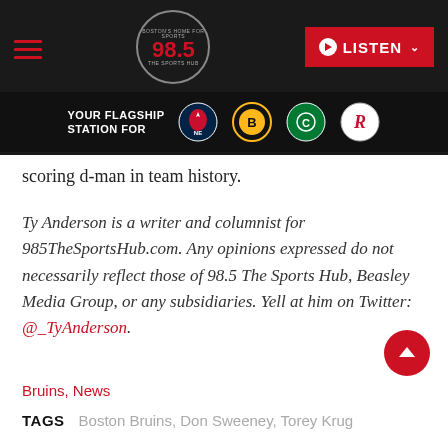98.5 The Sports Hub — BOSTON'S HOME FOR SPORTS — YOUR FLAGSHIP STATION FOR [Patriots, Bruins, Celtics, Revolution logos]
scoring d-man in team history.
Ty Anderson is a writer and columnist for 985TheSportsHub.com. Any opinions expressed do not necessarily reflect those of 98.5 The Sports Hub, Beasley Media Group, or any subsidiaries. Yell at him on Twitter: @_TyAnderson.
Bruins, News
TAGS  Boston Bruins, Don Sweeney, Torey Krug